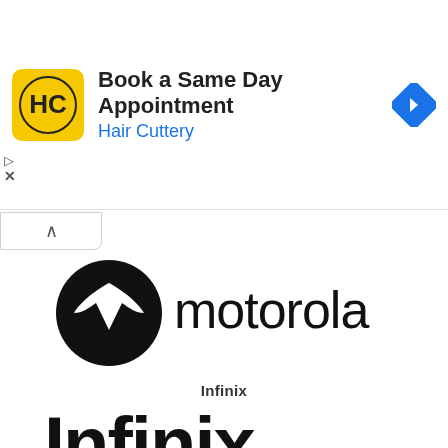[Figure (screenshot): Advertisement banner: Hair Cuttery logo (yellow square with HC letters), text 'Book a Same Day Appointment' and 'Hair Cuttery' in blue, blue navigation/directions diamond icon on right, play and close controls on left]
[Figure (logo): Motorola logo: black circle with white stylized M batwing symbol, followed by 'motorola' text in black]
Infinix
[Figure (logo): Infinix logo in large bold black text]